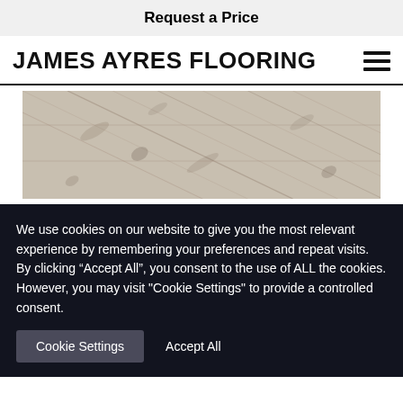Request a Price
JAMES AYRES FLOORING
[Figure (photo): Close-up photo of grey/beige wood-look flooring planks arranged diagonally]
We use cookies on our website to give you the most relevant experience by remembering your preferences and repeat visits. By clicking “Accept All”, you consent to the use of ALL the cookies. However, you may visit "Cookie Settings" to provide a controlled consent.
Cookie Settings   Accept All